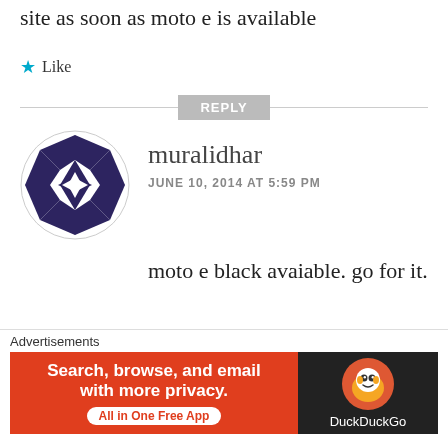site as soon as moto e is available
★ Like
REPLY
[Figure (illustration): Circular avatar with geometric black and white diamond/star pattern]
muralidhar
JUNE 10, 2014 AT 5:59 PM
moto e black avaiable. go for it.
★ Like
REPLY
[Figure (infographic): DuckDuckGo advertisement banner: orange left panel with 'Search, browse, and email with more privacy. All in One Free App' and dark right panel with DuckDuckGo duck icon logo and DuckDuckGo label]